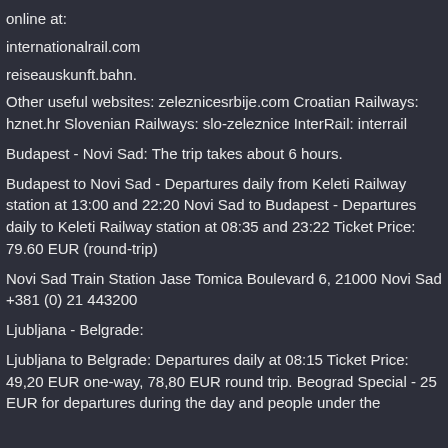online at:
internationalrail.com
reiseauskunft.bahn.
Other useful websites: zeleznicesrbije.com Croatian Railways: hznet.hr Slovenian Railways: slo-zeleznice InterRail: interrail
Budapest - Novi Sad: The trip takes about 6 hours.
Budapest to Novi Sad - Departures daily from Keleti Railway station at 13:00 and 22:20 Novi Sad to Budapest - Departures daily to Keleti Railway station at 08:35 and 23:22 Ticket Price: 79.60 EUR (round-trip)
Novi Sad Train Station Jase Tomica Boulevard 6, 21000 Novi Sad +381 (0) 21 443200
Ljubljana - Belgrade:
Ljubljana to Belgrade: Departures daily at 08:15 Ticket Price: 49,20 EUR one-way, 78,80 EUR round trip. Beograd Special - 25 EUR for departures during the day and people under the